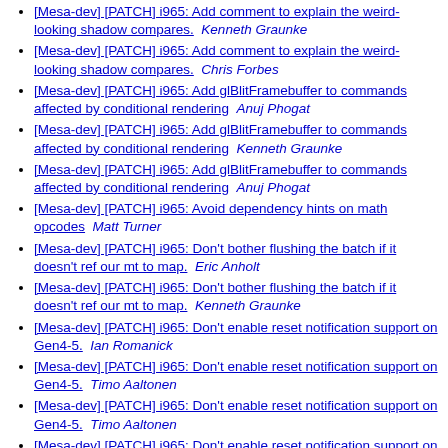[Mesa-dev] [PATCH] i965: Add comment to explain the weird-looking shadow compares.   Kenneth Graunke
[Mesa-dev] [PATCH] i965: Add comment to explain the weird-looking shadow compares.   Chris Forbes
[Mesa-dev] [PATCH] i965: Add glBlitFramebuffer to commands affected by conditional rendering   Anuj Phogat
[Mesa-dev] [PATCH] i965: Add glBlitFramebuffer to commands affected by conditional rendering   Kenneth Graunke
[Mesa-dev] [PATCH] i965: Add glBlitFramebuffer to commands affected by conditional rendering   Anuj Phogat
[Mesa-dev] [PATCH] i965: Avoid dependency hints on math opcodes   Matt Turner
[Mesa-dev] [PATCH] i965: Don't bother flushing the batch if it doesn't ref our mt to map.   Eric Anholt
[Mesa-dev] [PATCH] i965: Don't bother flushing the batch if it doesn't ref our mt to map.   Kenneth Graunke
[Mesa-dev] [PATCH] i965: Don't enable reset notification support on Gen4-5.   Ian Romanick
[Mesa-dev] [PATCH] i965: Don't enable reset notification support on Gen4-5.   Timo Aaltonen
[Mesa-dev] [PATCH] i965: Don't enable reset notification support on Gen4-5.   Timo Aaltonen
[Mesa-dev] [PATCH] i965: Don't enable reset notification support on Gen4-5.   Kenneth Graunke
[Mesa-dev] [PATCH] i965: Don't force pre-Gen6 varying...